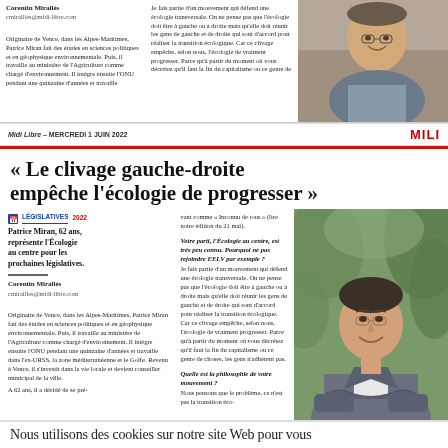Corentin Mirallès
cmirailles@midi-libre.com

Originaire de Vence, dans les Alpes-Maritimes, Patrice Miran fait des études en sciences politiques et en géophysique environnementale. Puis, il travaille au ministère de l'Agriculture comme chargé d'environnement. Il intègre ensuite l'ONU pendant une quinzaine d'années et travaille
Je fais partie d'un mouvement qui défend une écologie transversale. On ne pense pas que l'écologie doit être à gauche ou à droite mais qu'elle doit réunir les gens de gauche et de droite qui sont d'accord pour réaliser la transition écologique. Car ce clivage empêche, selon nous, l'écologie de vraiment progresser. Parce qu'à partir du moment où vous décrétez qu'il faut la fin du capitalisme ou ce genre de
[Figure (photo): Portrait photo of Patrice Miran, smiling man, cropped at top of page]
Midi Libre – MERCREDI 1 JUIN 2022
« Le clivage gauche-droite empêche l'écologie de progresser »
LÉGISLATIVES 2022

Patrice Miran, 62 ans, représente l'Écologie au centre pour les prochaines législatives.
vant comme « Inconnu de tous » (lire notre édition du 21 mai).
Corentin Mirallès
cmirailles@midi-libre.com
Originaire de Vence, dans les Alpes-Maritimes, Patrice Miran fait des études en sciences politiques et en géophysique environnementale. Puis, il travaille au ministère de l'Agriculture comme chargé d'environnement. Il intègre ensuite l'ONU pendant une quinzaine d'années et travaille dans l'ex-URSS, la zone méditerranéenne et le Golfe. Revenu à Vence, il s'investit dans la vie locale et devient conseiller municipal de la ville.
A 62 ans, il a décidé de se pré-
Votre parti, l'Écologie au centre, est très peu connu. Pourquoi ne pas rejoindre EELV par exemple ?
Je fais partie d'un mouvement qui défend une écologie transversale. On ne pense pas que l'écologie doit être à gauche ou à droite mais qu'elle doit réunir les gens de gauche et de droite qui sont d'accord pour réaliser la transition écologique. Car ce clivage empêche, selon nous, l'écologie de vraiment progresser. Parce qu'à partir du moment où vous décrétez qu'il faut la fin du capitalisme ou ce genre de choses, les gens n'adhèrent pas.

Quelle est la philosophie de votre mouvement ?
Nous pensons que le problème, ce n'est pas la transition éco-
[Figure (photo): Portrait photo of Patrice Miran smiling with arms crossed, wearing grey blazer, green foliage background]
Nous utilisons des cookies sur notre site Web pour vous